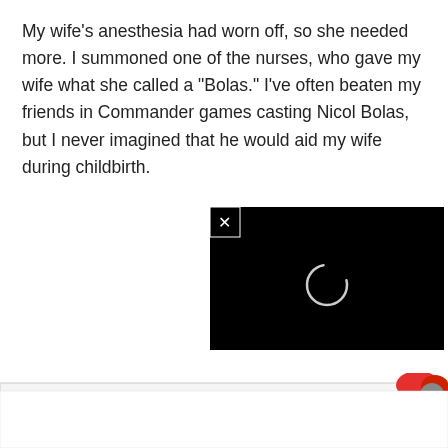My wife's anesthesia had worn off, so she needed more. I summoned one of the nurses, who gave my wife what she called a "Bolas." I've often beaten my friends in Commander games casting Nicol Bolas, but I never imagined that he would aid my wife during childbirth.
[Figure (screenshot): A black video player window with an X close button in the top-left corner and a circular loading/buffering spinner in the center.]
[Figure (screenshot): A partially visible advertisement or content area at the bottom of the page with a red/orange element visible in the top-right corner and a circular close (X) button.]